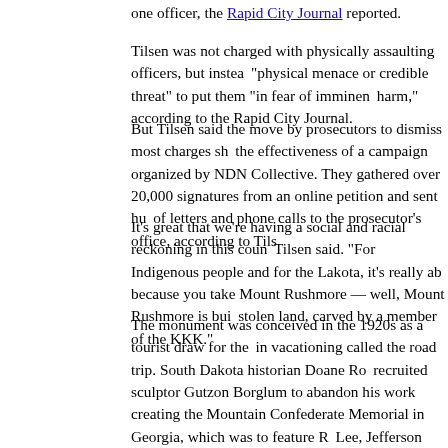one officer, the Rapid City Journal reported.
Tilsen was not charged with physically assaulting officers, but instead a "physical menace or credible threat" to put them "in fear of imminent harm," according to the Rapid City Journal.
But Tilsen said the move by prosecutors to dismiss most charges showed the effectiveness of a campaign organized by NDN Collective. They gathered over 20,000 signatures from an online petition and sent hundreds of letters and phone calls to the prosecutor's office, according to Tilsen.
It's great that we're having a social and racial reckoning in this country, Tilsen said. "For Indigenous people and for the Lakota, it's really about — because you take Mount Rushmore — well, Mount Rushmore is built on stolen land, carved by a member of the KKK."
The monument was conceived in the 1920s as a tourist draw for the trend in vacationing called the road trip. South Dakota historian Doane Robinson recruited sculptor Gutzon Borglum to abandon his work creating the Stone Mountain Confederate Memorial in Georgia, which was to feature Robert E. Lee, Jefferson Davis and Stonewall Jackson.
Borglum was affiliated with the Ku Klux Klan as he raised money for the Confederate monument, according to historians.
Tilsen's calls to close Mount Rushmore put him at odds with Gov. Kristi Noem and other top Republicans in the state. She has ardently defended the monument, which is so connected to the state's identity that it adorns most license plates.
"Those four men are etched into Mount Rushmore are incredibly important to our history," the governor told Fox News this month. "We saw a movement to tear them down earlier this year. They needed to be